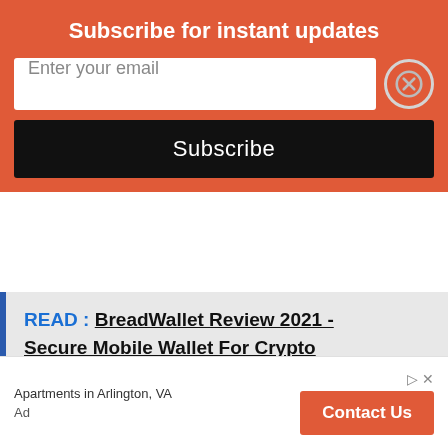Subscribe for instant updates
Enter your email
Subscribe
READ :  BreadWallet Review 2021 - Secure Mobile Wallet For Crypto
As a result, Visa quotes it is closely working with regulators worldwide and policy think tank. Visa cryptocurrency ambition refresh is a
Apartments in Arlington, VA
Ad
Contact Us